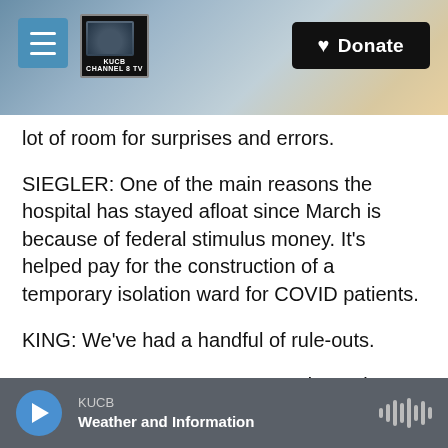[Figure (screenshot): Website header with snowy mountain landscape background, hamburger menu button on the left, KUCB Channel 8 TV logo, and a black Donate button with heart icon on the right]
lot of room for surprises and errors.
SIEGLER: One of the main reasons the hospital has stayed afloat since March is because of federal stimulus money. It's helped pay for the construction of a temporary isolation ward for COVID patients.
KING: We've had a handful of rule-outs.
UNIDENTIFIED PERSON: Good morning.
KING: Good morning.
SIEGLER: Past the small nursing station and down
[Figure (screenshot): Audio player bar at bottom: blue play button, KUCB station label, Weather and Information show title, waveform icon on right]